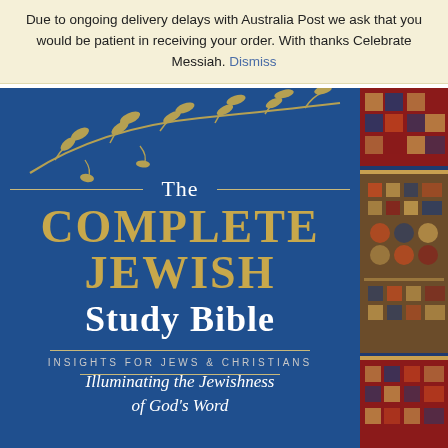Due to ongoing delivery delays with Australia Post we ask that you would be patient in receiving your order. With thanks Celebrate Messiah. Dismiss
[Figure (photo): Book cover of 'The Complete Jewish Study Bible – Insights for Jews & Christians, Illuminating the Jewishness of God's Word'. Blue cover with gold lettering, olive branch illustration at top, and decorative mosaic/textile panel on the right side.]